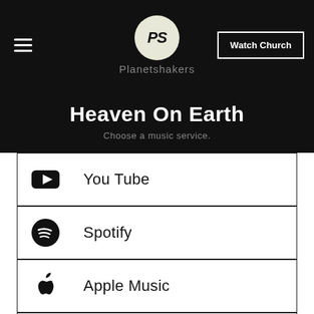Planetshakers — Watch Church
Heaven On Earth
Choose a music service.
You Tube
Spotify
Apple Music
Google Play
MultiTracks